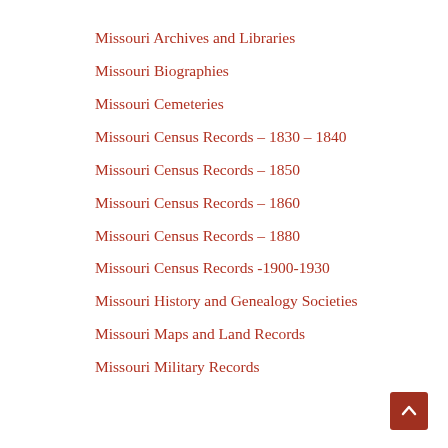Missouri Archives and Libraries
Missouri Biographies
Missouri Cemeteries
Missouri Census Records – 1830 – 1840
Missouri Census Records – 1850
Missouri Census Records – 1860
Missouri Census Records – 1880
Missouri Census Records -1900-1930
Missouri History and Genealogy Societies
Missouri Maps and Land Records
Missouri Military Records